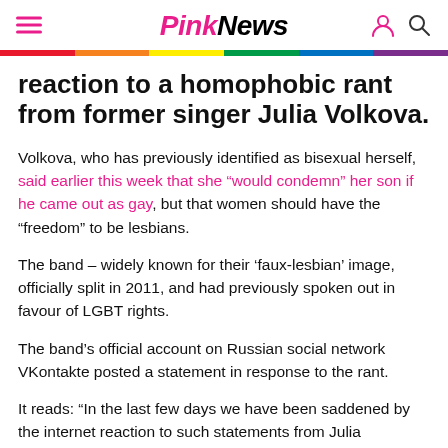PinkNews
reaction to a homophobic rant from former singer Julia Volkova.
Volkova, who has previously identified as bisexual herself, said earlier this week that she “would condemn” her son if he came out as gay, but that women should have the “freedom” to be lesbians.
The band – widely known for their ‘faux-lesbian’ image, officially split in 2011, and had previously spoken out in favour of LGBT rights.
The band’s official account on Russian social network VKontakte posted a statement in response to the rant.
It reads: “In the last few days we have been saddened by the internet reaction to such statements from Julia